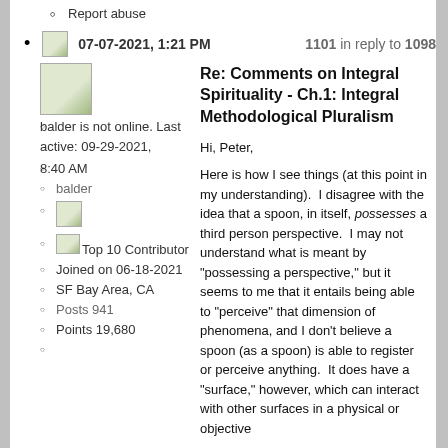Report abuse
07-07-2021, 1:21 PM   1101 in reply to 1098
balder is not online. Last active: 09-29-2021, 8:40 AM
Re: Comments on Integral Spirituality - Ch.1: Integral Methodological Pluralism
balder
[image]
Top 10 Contributor
Joined on 06-18-2021
SF Bay Area, CA
Posts 941
Points 19,680
Hi, Peter,
Here is how I see things (at this point in my understanding).  I disagree with the idea that a spoon, in itself, possesses a third person perspective.  I may not understand what is meant by "possessing a perspective," but it seems to me that it entails being able to "perceive" that dimension of phenomena, and I don't believe a spoon (as a spoon) is able to register or perceive anything.  It does have a "surface," however, which can interact with other surfaces in a physical or objective